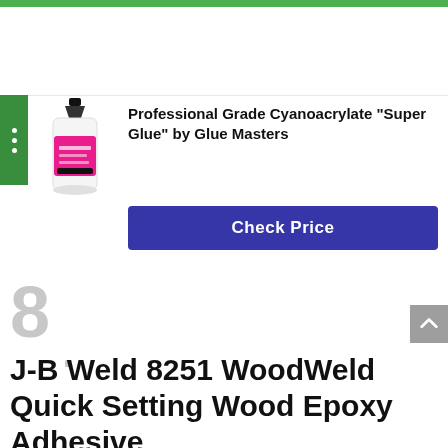[Figure (photo): Product photo of Professional Grade Cyanoacrylate Super Glue bottle by Glue Masters with pink label]
Professional Grade Cyanoacrylate “Super Glue” by Glue Masters
Check Price
8.
J-B Weld 8251 WoodWeld Quick Setting Wood Epoxy Adhesive